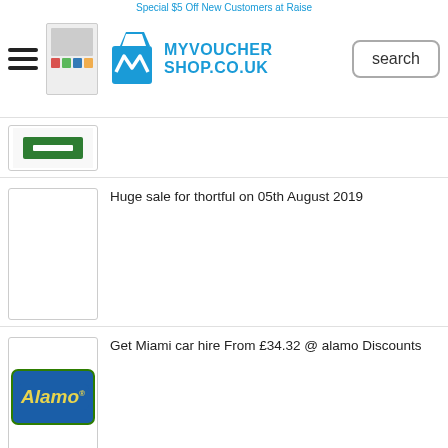Special $5 Off New Customers at Raise
[Figure (logo): MyVoucherShop.co.uk logo with shopping bag icon]
search
[Figure (screenshot): Partial thumbnail of a voucher listing]
Huge sale for thortful on 05th August 2019
[Figure (logo): Alamo car rental logo - blue background with yellow italic text]
Get Miami car hire From £34.32 @ alamo Discounts
[Figure (logo): easyJet holidays logo - orange background with white text]
Pay just £195.18 and enjoy a great all inclusive holiday
Heathrow Airport Parking Best Deals on